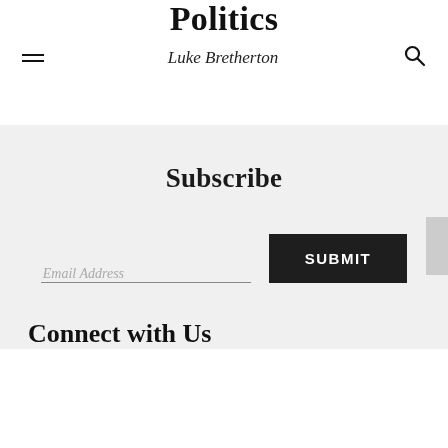Politics
Luke Bretherton
Subscribe
Email Address
SUBMIT
Connect with Us